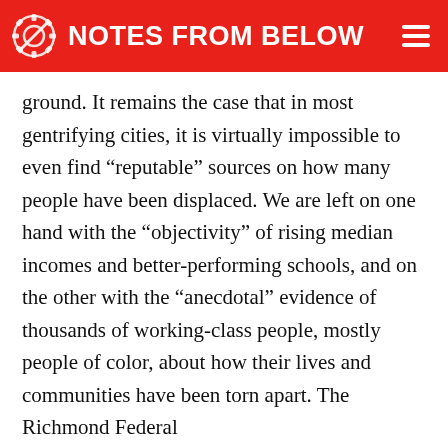NOTES FROM BELOW
ground. It remains the case that in most gentrifying cities, it is virtually impossible to even find “reputable” sources on how many people have been displaced. We are left on one hand with the “objectivity” of rising median incomes and better-performing schools, and on the other with the “anecdotal” evidence of thousands of working-class people, mostly people of color, about how their lives and communities have been torn apart. The Richmond Federal